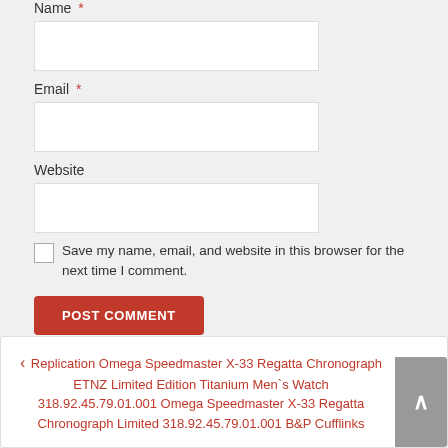Name *
Email *
Website
Save my name, email, and website in this browser for the next time I comment.
POST COMMENT
← Replication Omega Speedmaster X-33 Regatta Chronograph ETNZ Limited Edition Titanium Men`s Watch 318.92.45.79.01.001 Omega Speedmaster X-33 Regatta Chronograph Limited 318.92.45.79.01.001 B&P Cufflinks